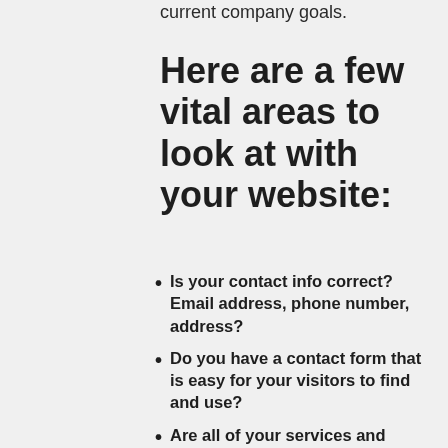current company goals.
Here are a few vital areas to look at with your website:
Is your contact info correct? Email address, phone number, address?
Do you have a contact form that is easy for your visitors to find and use?
Are all of your services and product lines listed on your site?
Do you have concise descriptions of your products and services?
Do you have an FAQ page to help visitors answer those common